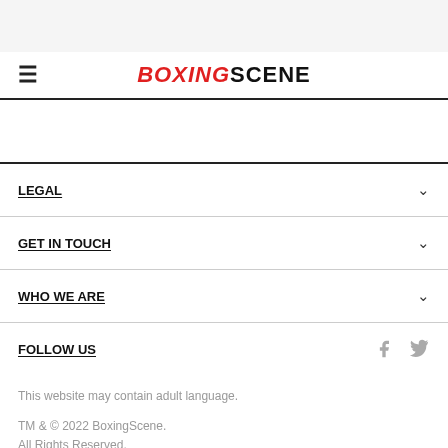BOXINGSCENE
LEGAL
GET IN TOUCH
WHO WE ARE
FOLLOW US
This website may contain adult language.
TM & © 2022 BoxingScene.
All Rights Reserved.